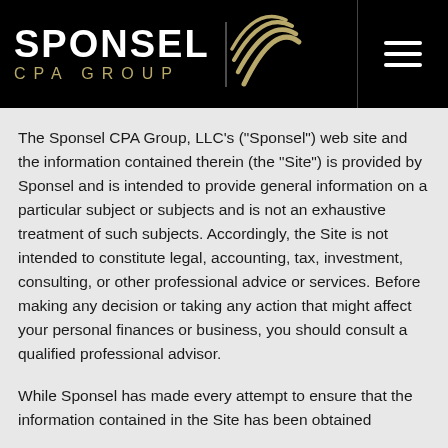[Figure (logo): Sponsel CPA Group logo with stylized globe/arc icon on black background, with hamburger menu icon in top right]
The Sponsel CPA Group, LLC's ("Sponsel") web site and the information contained therein (the “Site”) is provided by Sponsel and is intended to provide general information on a particular subject or subjects and is not an exhaustive treatment of such subjects. Accordingly, the Site is not intended to constitute legal, accounting, tax, investment, consulting, or other professional advice or services. Before making any decision or taking any action that might affect your personal finances or business, you should consult a qualified professional advisor.
While Sponsel has made every attempt to ensure that the information contained in the Site has been obtained